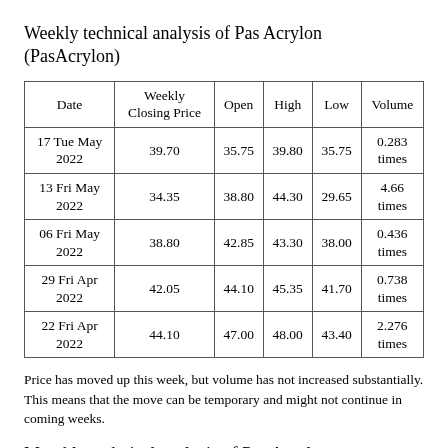Weekly technical analysis of Pas Acrylon (PasAcrylon)
| Date | Weekly Closing Price | Open | High | Low | Volume |
| --- | --- | --- | --- | --- | --- |
| 17 Tue May 2022 | 39.70 | 35.75 | 39.80 | 35.75 | 0.283 times |
| 13 Fri May 2022 | 34.35 | 38.80 | 44.30 | 29.65 | 4.66 times |
| 06 Fri May 2022 | 38.80 | 42.85 | 43.30 | 38.00 | 0.436 times |
| 29 Fri Apr 2022 | 42.05 | 44.10 | 45.35 | 41.70 | 0.738 times |
| 22 Fri Apr 2022 | 44.10 | 47.00 | 48.00 | 43.40 | 2.276 times |
Price has moved up this week, but volume has not increased substantially. This means that the move can be temporary and might not continue in coming weeks.
Monthly technical analysis of Pas Acrylon (PasAcrylon)